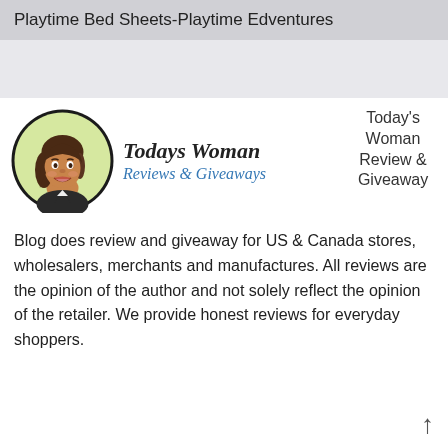Playtime Bed Sheets-Playtime Edventures
[Figure (logo): Todays Woman Reviews & Giveaways blog logo with illustrated woman avatar in circular frame]
Today's Woman Review & Giveaway
Blog does review and giveaway for US & Canada stores, wholesalers, merchants and manufactures. All reviews are the opinion of the author and not solely reflect the opinion of the retailer. We provide honest reviews for everyday shoppers.